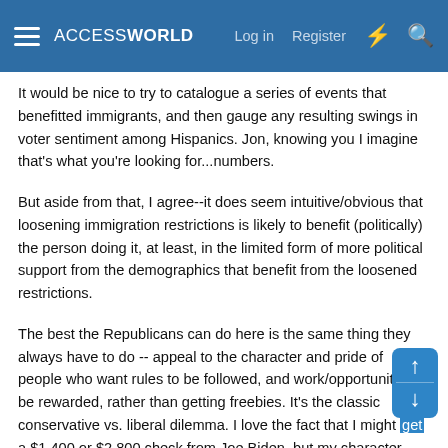ACCESSWORLD — Log in  Register
It would be nice to try to catalogue a series of events that benefitted immigrants, and then gauge any resulting swings in voter sentiment among Hispanics. Jon, knowing you I imagine that's what you're looking for...numbers.
But aside from that, I agree--it does seem intuitive/obvious that loosening immigration restrictions is likely to benefit (politically) the person doing it, at least, in the limited form of more political support from the demographics that benefit from the loosened restrictions.
The best the Republicans can do here is the same thing they always have to do -- appeal to the character and pride of people who want rules to be followed, and work/opportunities to be rewarded, rather than getting freebies. It's the classic conservative vs. liberal dilemma. I love the fact that I might get a $1,400 or $2,800 check from Joe Biden, but my character stops me from deciding how to vote based on getting a check from someone. Not everyone thinks like that. And I do try to